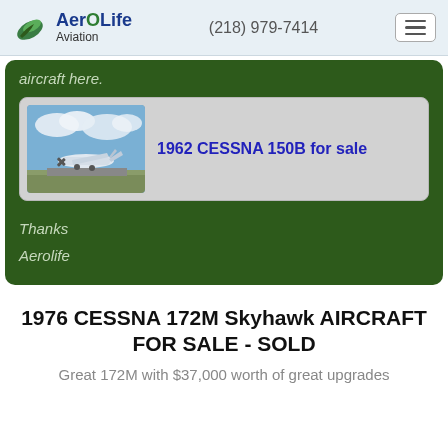AeroLife Aviation | (218) 979-7414
aircraft here.
[Figure (photo): Small Cessna airplane on a runway with blue sky and clouds]
1962 CESSNA 150B for sale
Thanks
Aerolife
1976 CESSNA 172M Skyhawk AIRCRAFT FOR SALE - SOLD
Great 172M with $37,000 worth of great upgrades